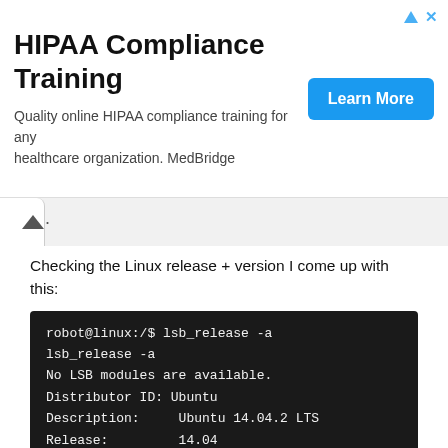[Figure (screenshot): HIPAA Compliance Training advertisement banner with 'Learn More' button in blue and ad icons in top right.]
[Figure (screenshot): Browser tab bar with a caret/chevron up icon on a white tab and dots on right side.]
Checking the Linux release + version I come up with this:
[Figure (screenshot): Terminal window showing: robot@linux:/$ lsb_release -a
lsb_release -a
No LSB modules are available.
Distributor ID: Ubuntu
Description:     Ubuntu 14.04.2 LTS
Release:         14.04
Codename:        trusty]
Some quick googling and I find a good contender for possible privilege escalation with this version: https://www.exploit-db.com/exploits/37292/
Hating myself for having to use VI I create the new file.